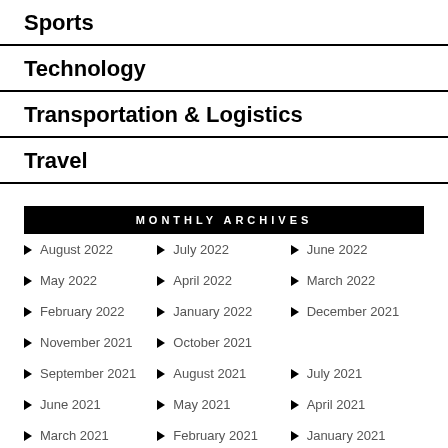Sports
Technology
Transportation & Logistics
Travel
MONTHLY ARCHIVES
August 2022
July 2022
June 2022
May 2022
April 2022
March 2022
February 2022
January 2022
December 2021
November 2021
October 2021
September 2021
August 2021
July 2021
June 2021
May 2021
April 2021
March 2021
February 2021
January 2021